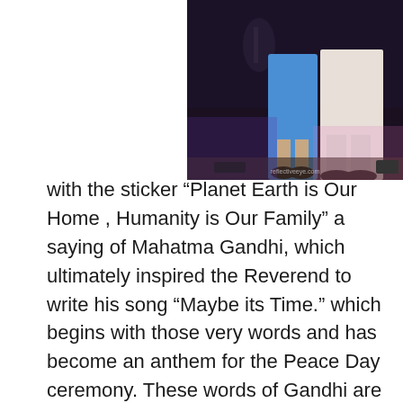[Figure (photo): Photo of two people on a stage — a person in a blue dress and a person in a white suit, showing legs and feet, with stage lighting and equipment visible in the background. Watermark: reflectiveeye.com]
with the sticker “Planet Earth is Our Home , Humanity is Our Family” a saying of Mahatma Gandhi, which ultimately inspired the Reverend to write his song “Maybe its Time.” which begins with those very words and has become an anthem for the Peace Day ceremony. These words of Gandhi are also inscribed on the inspirational Peace Stone which Mayor McCallion helped Mrs. Sheasby to fulfill her dream to create.
Bruce Reinhold Elvis Sheasby is indeed an